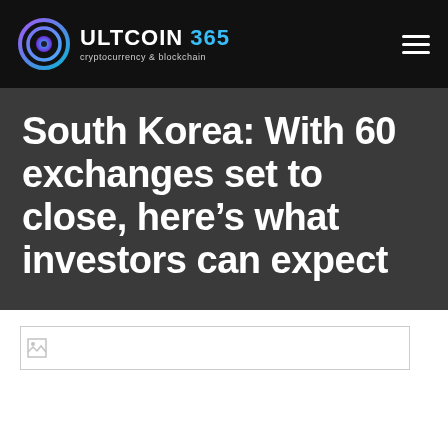ULTCOIN 365 cryptocurrency & blockchain
South Korea: With 60 exchanges set to close, here's what investors can expect
[Figure (photo): Broken image placeholder for article image]